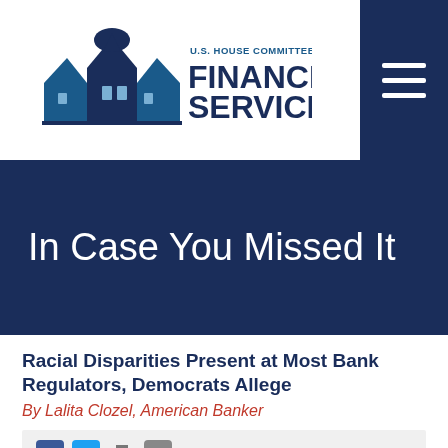[Figure (logo): U.S. House Committee on Financial Services logo with building icon and text]
In Case You Missed It
Racial Disparities Present at Most Bank Regulators, Democrats Allege
By Lalita Clozel, American Banker
Washington, DC, November 5, 2015
Tags: CFPB , SEC , OCC , CFTC , FDIC , HUD , NCUA , FHFA , Wealth Gap